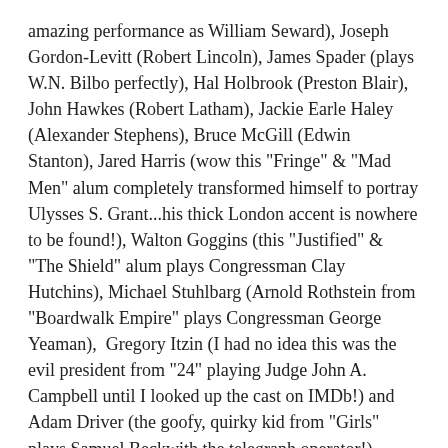amazing performance as William Seward), Joseph Gordon-Levitt (Robert Lincoln), James Spader (plays W.N. Bilbo perfectly), Hal Holbrook (Preston Blair), John Hawkes (Robert Latham), Jackie Earle Haley (Alexander Stephens), Bruce McGill (Edwin Stanton), Jared Harris (wow this "Fringe" & "Mad Men" alum completely transformed himself to portray Ulysses S. Grant...his thick London accent is nowhere to be found!), Walton Goggins (this "Justified" & "The Shield" alum plays Congressman Clay Hutchins), Michael Stuhlbarg (Arnold Rothstein from "Boardwalk Empire" plays Congressman George Yeaman),  Gregory Itzin (I had no idea this was the evil president from "24" playing Judge John A. Campbell until I looked up the cast on IMDb!) and Adam Driver (the goofy, quirky kid from "Girls" plays Samuel Beckwith the telegraph operator!). Wow...what a cast!
The most notable (a.k.a, Oscar-worthy) performances are given by Field who portrays Mary Todd Lincoln with such